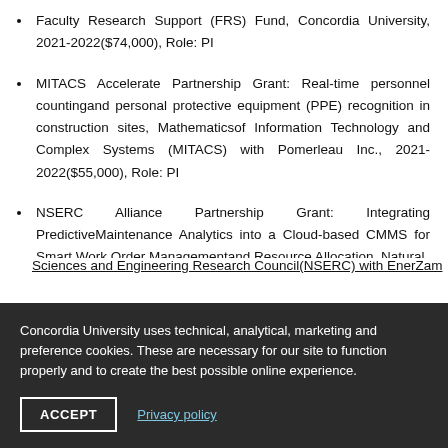Faculty Research Support (FRS) Fund, Concordia University, 2021-2022($74,000), Role: PI
MITACS Accelerate Partnership Grant: Real-time personnel countingand personal protective equipment (PPE) recognition in construction sites, Mathematicsof Information Technology and Complex Systems (MITACS) with Pomerleau Inc., 2021-2022($55,000), Role: PI
NSERC Alliance Partnership Grant: Integrating PredictiveMaintenance Analytics into a Cloud-based CMMS for Smart Work Order Managementand Resource Allocation, Natural Sciences and Engineering Research Council(NSERC) with EnerZam...
Concordia University uses technical, analytical, marketing and preference cookies. These are necessary for our site to function properly and to create the best possible online experience.
ACCEPT
Privacy policy